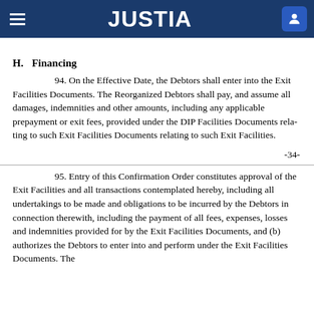JUSTIA
H.    Financing
94. On the Effective Date, the Debtors shall enter into the Exit Facilities Documents. The Reorganized Debtors shall pay, and assume all damages, indemnities and other amounts, including any applicable prepayment or exit fees, provided under the DIP Facilities Documents relating to such Exit Facilities Documents relating to such Exit Facilities.
-34-
95. Entry of this Confirmation Order constitutes approval of the Exit Facilities and all transactions contemplated hereby, including all undertakings to be made and obligations to be incurred by the Debtors in connection therewith, including the payment of all fees, expenses, losses and indemnities provided for by the Exit Facilities Documents, and (b) authorizes the Debtors to enter into and perform under the Exit Facilities Documents. The